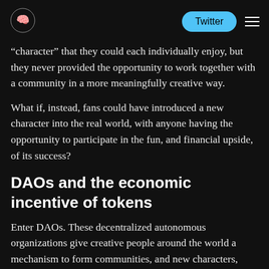Twitter [logo and nav]
“character” that they could each individually enjoy, but they never provided the opportunity to work together with a community in a more meaningfully creative way.
What if, instead, fans could have introduced a new character into the real world, with anyone having the opportunity to participate in the fun, and financial upside, of its success?
DAOs and the economic incentive of tokens
Enter DAOs. These decentralized autonomous organizations give creative people around the world a mechanism to form communities, and new characters, with real money — much like fantasy